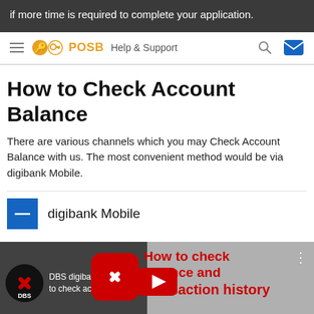if more time is required to complete your application.
POSB Help & Support
How to Check Account Balance
There are various channels which you may Check Account Balance with us. The most convenient method would be via digibank Mobile.
digibank Mobile
[Figure (screenshot): YouTube video thumbnail for DBS digibank app - How to check account balance and transaction history]